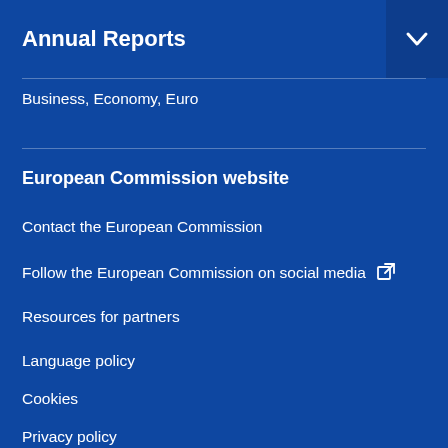Annual Reports
Business, Economy, Euro
European Commission website
Contact the European Commission
Follow the European Commission on social media
Resources for partners
Language policy
Cookies
Privacy policy
Legal notice